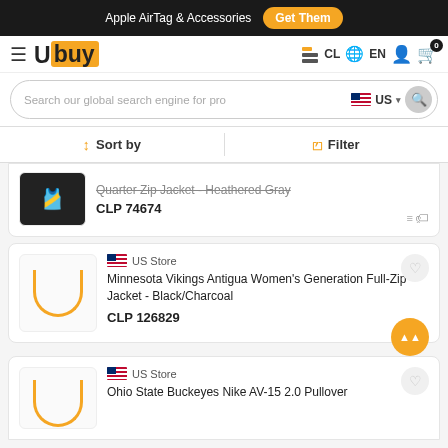Apple AirTag & Accessories  Get Them
[Figure (logo): Ubuy logo with orange square background]
Search our global search engine for pro  US
Sort by  Filter
Quarter Zip Jacket - Heathered Gray  CLP 74674
US Store  Minnesota Vikings Antigua Women's Generation Full-Zip Jacket - Black/Charcoal  CLP 126829
US Store  Ohio State Buckeyes Nike AV-15 2.0 Pullover